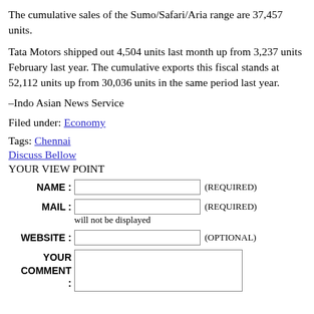The cumulative sales of the Sumo/Safari/Aria range are 37,457 units.
Tata Motors shipped out 4,504 units last month up from 3,237 units February last year. The cumulative exports this fiscal stands at 52,112 units up from 30,036 units in the same period last year.
–Indo Asian News Service
Filed under: Economy
Tags: Chennai
Discuss Bellow
YOUR VIEW POINT
NAME : (REQUIRED)
MAIL : (REQUIRED)
will not be displayed
WEBSITE : (OPTIONAL)
YOUR COMMENT :